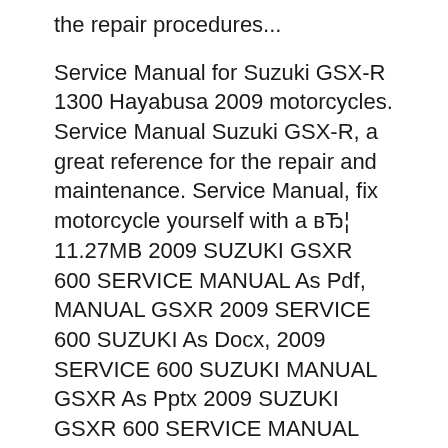the repair procedures...
Service Manual for Suzuki GSX-R 1300 Hayabusa 2009 motorcycles. Service Manual Suzuki GSX-R, a great reference for the repair and maintenance. Service Manual, fix motorcycle yourself with a вЂ¦ 11.27MB 2009 SUZUKI GSXR 600 SERVICE MANUAL As Pdf, MANUAL GSXR 2009 SERVICE 600 SUZUKI As Docx, 2009 SERVICE 600 SUZUKI MANUAL GSXR As Pptx 2009 SUZUKI GSXR 600 SERVICE MANUAL How easy reading concept can improve to be an effective person? 2009 SUZUKI GSXR 600 SERVICE MANUAL review is a very simple task. Yet, how many people can be lazy to read?
Jan 29, 2016В В· Suzuki GSX-R 750 2009...